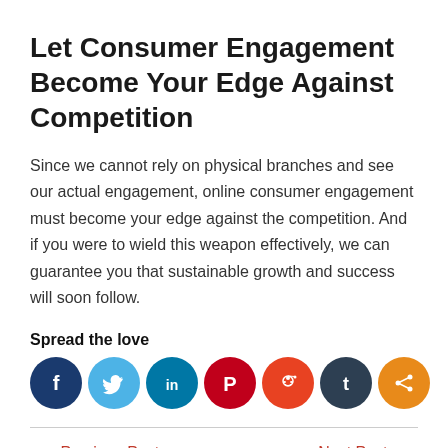Let Consumer Engagement Become Your Edge Against Competition
Since we cannot rely on physical branches and see our actual engagement, online consumer engagement must become your edge against the competition. And if you were to wield this weapon effectively, we can guarantee you that sustainable growth and success will soon follow.
Spread the love
[Figure (infographic): Row of 7 social media sharing icons: Facebook (dark blue), Twitter (light blue), LinkedIn (blue), Pinterest (red), Reddit (orange-red), Tumblr (dark slate), Share (orange)]
← Previous Post    Next Post →